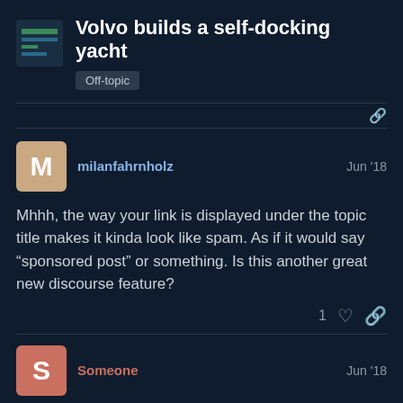Volvo builds a self-docking yacht
Off-topic
milanfahrnholz  Jun '18
Mhhh, the way your link is displayed under the topic title makes it kinda look like spam. As if it would say “sponsored post” or something. Is this another great new discourse feature?
1
Someone  Jun '18
🤦 Discourse did that.
(edit: lol I was able to remove that link
4 / 20